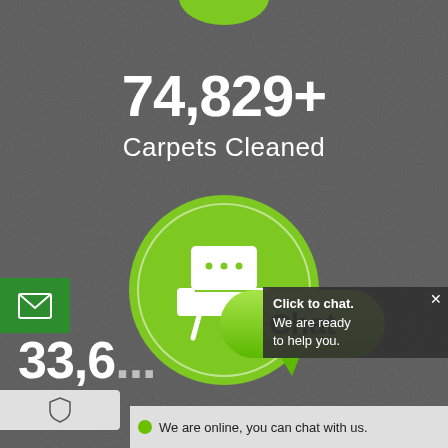[Figure (screenshot): Carpet cleaning service website screenshot showing stats and chat widget]
74,829+
Carpets Cleaned
33,6...
Uphol...
Chat
Click to chat. We are ready to help you.
We are online, you can chat with us.